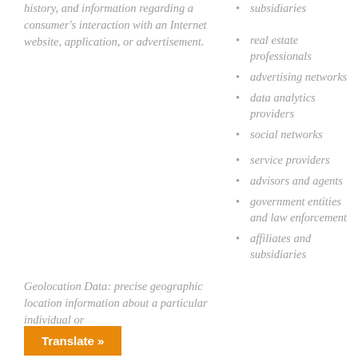history, and information regarding a consumer's interaction with an Internet website, application, or advertisement.
subsidiaries
real estate professionals
advertising networks
data analytics providers
social networks
service providers
advisors and agents
government entities and law enforcement
affiliates and subsidiaries
Geolocation Data: precise geographic location information about a particular individual or